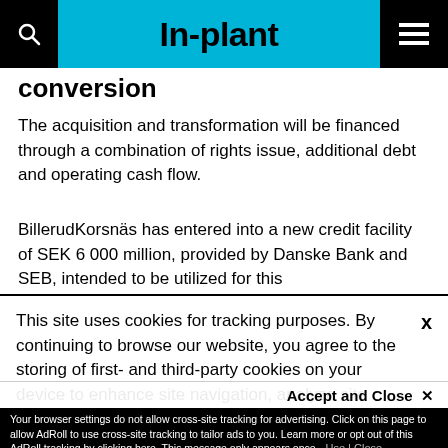In-plant
conversion
The acquisition and transformation will be financed through a combination of rights issue, additional debt and operating cash flow.
BillerudKorsnäs has entered into a new credit facility of SEK 6 000 million, provided by Danske Bank and SEB, intended to be utilized for this
This site uses cookies for tracking purposes. By continuing to browse our website, you agree to the storing of first- and third-party cookies on your device to enhance site navigation, analyze site
usage, and assist in our marketing and
Accept and Close ✕
Your browser settings do not allow cross-site tracking for advertising. Click on this page to allow AdRoll to use cross-site tracking to tailor ads to you. Learn more or opt out of this AdRoll tracking by clicking here. This message only appears once.